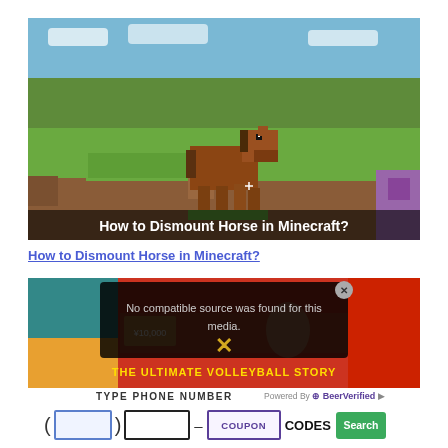[Figure (screenshot): Minecraft game screenshot showing a brown blocky horse in a grassy landscape with the text 'How to Dismount Horse in Minecraft?' overlaid at the bottom]
How to Dismount Horse in Minecraft?
[Figure (screenshot): Overlapping screenshot showing anime/game images with an overlay popup saying 'No compatible source was found for this media.' with a close X button, and background showing 'THE ULTIMATE VOLLEYBALL STORY' text]
TYPE PHONE NUMBER
Powered By BeerVerified
( [___] ) [____] - [COUPON] CODES Search